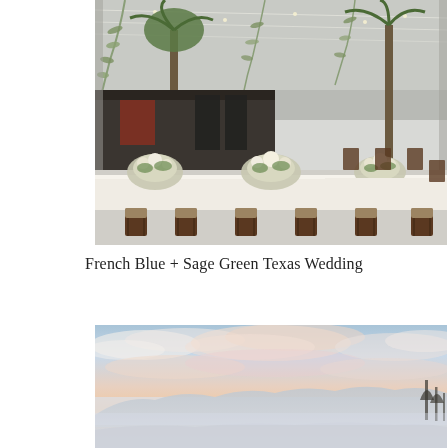[Figure (photo): Wedding reception under a white tent with string lights and floral installations. Long banquet tables set with white linens and green-and-white floral centerpieces. Dark wood Chiavari chairs surround the tables. A stage with musical instruments is visible in the background, flanked by tall palm trees.]
French Blue + Sage Green Texas Wedding
[Figure (photo): Scenic outdoor landscape photograph showing a dramatic pastel sunset sky with orange, pink, blue and purple clouds above a misty mountain range or rolling hills, with silhouetted trees on the right side.]